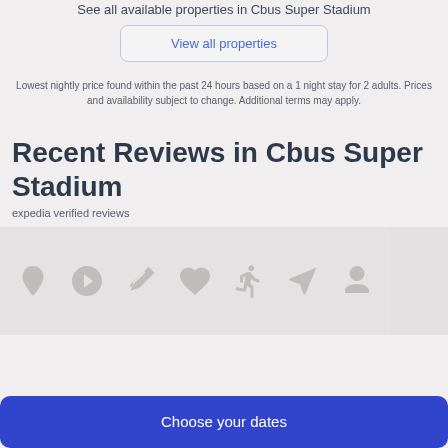See all available properties in Cbus Super Stadium
View all properties
Lowest nightly price found within the past 24 hours based on a 1 night stay for 2 adults. Prices and availability subject to change. Additional terms may apply.
Recent Reviews in Cbus Super Stadium
expedia verified reviews
[Figure (screenshot): A loading/placeholder image area with Expedia-style watermark icons on a light grey background, with a solid grey sidebar on the right.]
Choose your dates